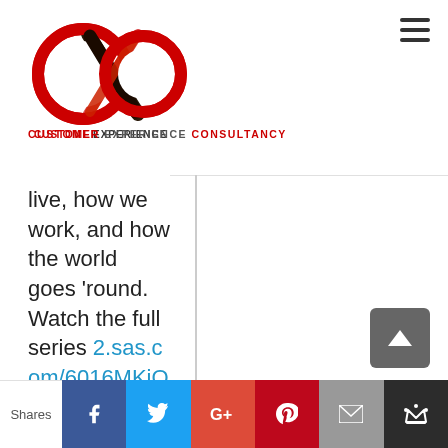[Figure (logo): CXO infinity loop logo in red and black with text CUSTOMER EXPERIENCE CONSULTANCY below]
live, how we work, and how the world goes 'round. Watch the full series 2.sas.com/6016MKiOe.
[Figure (other): Social sharing bar with Facebook, Twitter, Google+, Pinterest, Email, and Crown buttons. Shows 'Shares' label on left.]